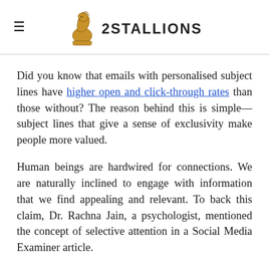2Stallions
Did you know that emails with personalised subject lines have higher open and click-through rates than those without? The reason behind this is simple—subject lines that give a sense of exclusivity make people more valued.
Human beings are hardwired for connections. We are naturally inclined to engage with information that we find appealing and relevant. To back this claim, Dr. Rachna Jain, a psychologist, mentioned the concept of selective attention in a Social Media Examiner article.
"Most commonly, reticular activating system